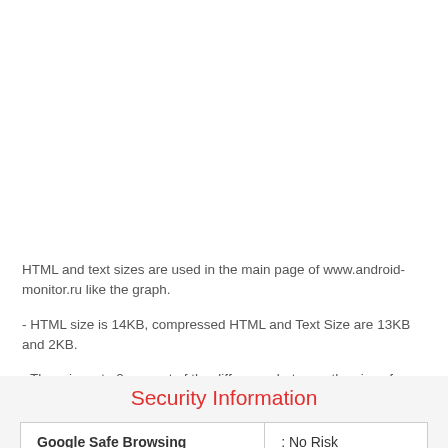HTML and text sizes are used in the main page of www.android-monitor.ru like the graph.
- HTML size is 14KB, compressed HTML and Text Size are 13KB and 2KB.
- There is up to 0 percent of the difference between the size of HTML and the compressed HTML size. If you can compress your HTML, you can have a smaller size site.
Security Information
|  |  |
| --- | --- |
| Google Safe Browsing | : No Risk |
| Siteadvisor Rating | : Good |